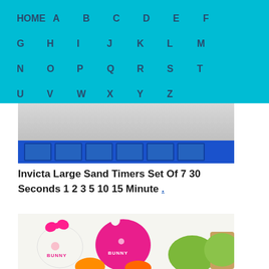HOME A B C D E F G H I J K L M N O P Q R S T U V W X Y Z
[Figure (photo): Photo of a blue plastic medication organizer tray with multiple compartments, top portion visible]
Invicta Large Sand Timers Set Of 7 30 Seconds 1 2 3 5 10 15 Minute .
[Figure (photo): Photo of colorful BUNNY branded round timer products in white, pink, green, and orange colors with decorative bunny ear tops]